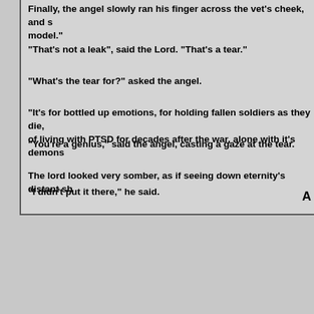Finally, the angel slowly ran his finger across the vet's cheek, and s... model."
"That's not a leak", said the Lord. "That's a tear."
"What's the tear for?" asked the angel.
"It's for bottled up emotions, for holding fallen soldiers as they die, ... of living with PTSD for decades after the war, alone with it's demons...
"You're a genius," said the angel, casting a gaze at the tear.
The lord looked very somber, as if seeing down eternity's distant sh...
"I didn't put it there," he said.
A
Back t... | Home | Table of C... | Copyright © 2008 - 2022 by ...